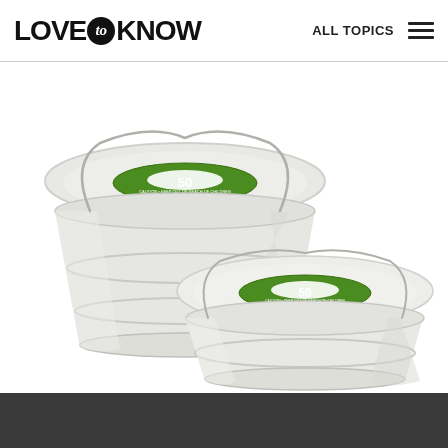LOVE to KNOW — ALL TOPICS
[Figure (photo): Two white metal buckets with green circular labels showing the number 50, stacked/overlapping in size, one larger in the back-left and one smaller in the front-right, both with wire handles, on a white background.]